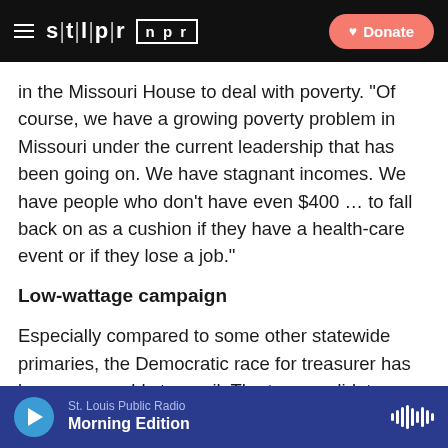STL|PR  npr  [Donate button]
in the Missouri House to deal with poverty. “Of course, we have a growing poverty problem in Missouri under the current leadership that has been going on. We have stagnant incomes. We have people who don’t have even $400 … to fall back on as a cushion if they have a health-care event or if they lose a job.”
Low-wattage campaign
Especially compared to some other statewide primaries, the Democratic race for treasurer has been reasonably tranquil. The two candidates have generally avoided attacking each other and have about the same amount of campaign money in the bank.
St. Louis Public Radio  Morning Edition